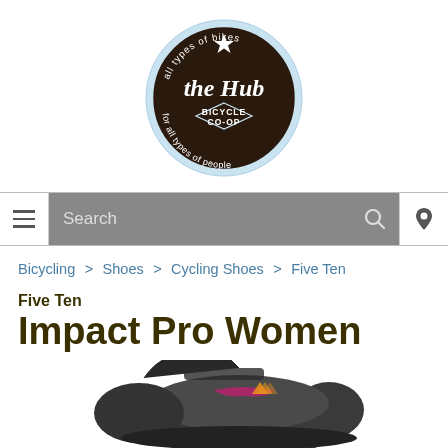[Figure (logo): The Hub Bicycle Co-op circular logo with dark brown background, light blue outer ring, script text 'the Hub' in center, text 'BICYCLE CO-OP', 'all types of bikes' at top, 'for all types of people' at bottom, star at top center]
[Figure (other): Navigation bar with hamburger menu icon on left, search field in center with magnifying glass icon, and location pin icon on right, on gray background]
Bicycling > Shoes > Cycling Shoes > Five Ten
Five Ten
Impact Pro Women
[Figure (photo): Partial photo of a dark gray/black Five Ten Impact Pro Women cycling shoe with magenta/pink and orange Adidas logo accents, photographed from above at an angle, cropped at bottom of page]